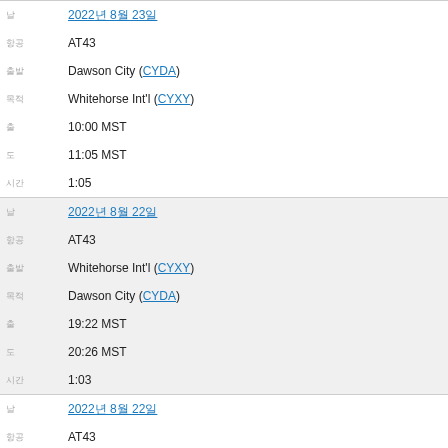| label | value |
| --- | --- |
| 날짜 | 2022년 8월 23일 |
| 항공기 | AT43 |
| 출발지 | Dawson City (CYDA) |
| 목적지 | Whitehorse Int'l (CYXY) |
| 출발 | 10:00 MST |
| 도착 | 11:05 MST |
| 시간 | 1:05 |
| 날짜 | 2022년 8월 22일 |
| 항공기 | AT43 |
| 출발지 | Whitehorse Int'l (CYXY) |
| 목적지 | Dawson City (CYDA) |
| 출발 | 19:22 MST |
| 도착 | 20:26 MST |
| 시간 | 1:03 |
| 날짜 | 2022년 8월 22일 |
| 항공기 | AT43 |
| 출발지 | Dawson City (CYDA) |
| 목적지 | Whitehorse Int'l (CYXY) |
| 출발 | 13:11 MST |
| 도착 | 14:15 MST |
| 시간 | 1:04 |